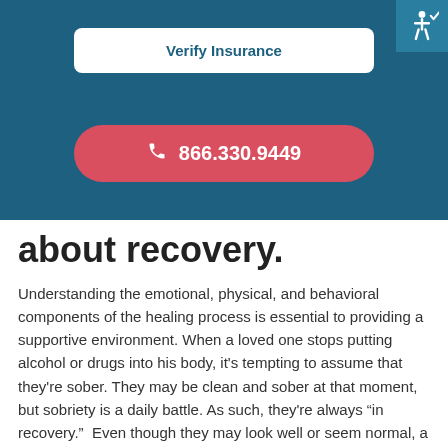Verify Insurance
866.330.9449
[Figure (logo): Accessibility icon (wheelchair symbol) in white on teal background, top-right corner]
about recovery.
Understanding the emotional, physical, and behavioral components of the healing process is essential to providing a supportive environment. When a loved one stops putting alcohol or drugs into his body, it's tempting to assume that they're sober. They may be clean and sober at that moment, but sobriety is a daily battle. As such, they're always “in recovery.”  Even though they may look well or seem normal, a brain affected by substance use needs time to heal and the